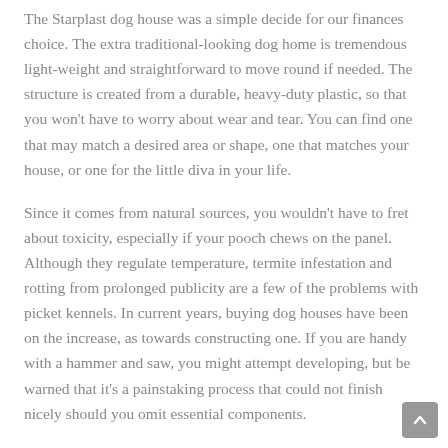The Starplast dog house was a simple decide for our finances choice. The extra traditional-looking dog home is tremendous light-weight and straightforward to move round if needed. The structure is created from a durable, heavy-duty plastic, so that you won't have to worry about wear and tear. You can find one that may match a desired area or shape, one that matches your house, or one for the little diva in your life.
Since it comes from natural sources, you wouldn't have to fret about toxicity, especially if your pooch chews on the panel. Although they regulate temperature, termite infestation and rotting from prolonged publicity are a few of the problems with picket kennels. In current years, buying dog houses have been on the increase, as towards constructing one. If you are handy with a hammer and saw, you might attempt developing, but be warned that it's a painstaking process that could not finish nicely should you omit essential components.
The dog interior pattern could be designed to look at it from inside...